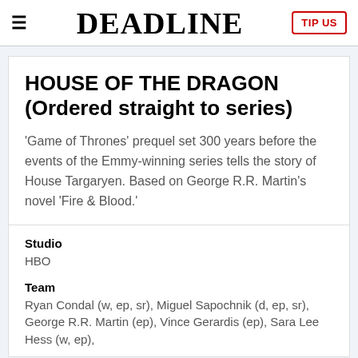≡   DEADLINE   TIP US
HOUSE OF THE DRAGON (Ordered straight to series)
'Game of Thrones' prequel set 300 years before the events of the Emmy-winning series tells the story of House Targaryen. Based on George R.R. Martin's novel 'Fire & Blood.'
Studio
HBO
Team
Ryan Condal (w, ep, sr), Miguel Sapochnik (d, ep, sr), George R.R. Martin (ep), Vince Gerardis (ep), Sara Lee Hess (w, ep),